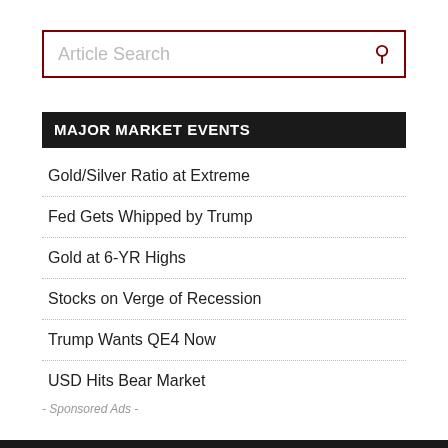Article Search
MAJOR MARKET EVENTS
Gold/Silver Ratio at Extreme
Fed Gets Whipped by Trump
Gold at 6-YR Highs
Stocks on Verge of Recession
Trump Wants QE4 Now
USD Hits Bear Market
- Sponsored Ads -